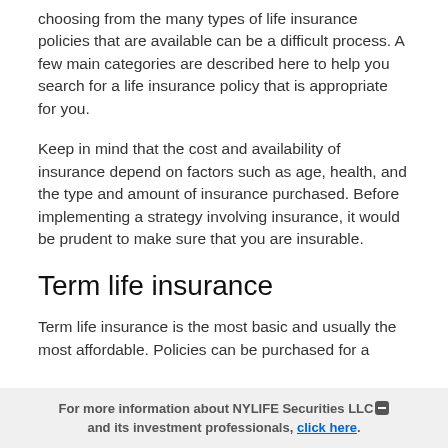choosing from the many types of life insurance policies that are available can be a difficult process. A few main categories are described here to help you search for a life insurance policy that is appropriate for you.
Keep in mind that the cost and availability of insurance depend on factors such as age, health, and the type and amount of insurance purchased. Before implementing a strategy involving insurance, it would be prudent to make sure that you are insurable.
Term life insurance
Term life insurance is the most basic and usually the most affordable. Policies can be purchased for a
For more information about NYLIFE Securities LLC and its investment professionals, click here.